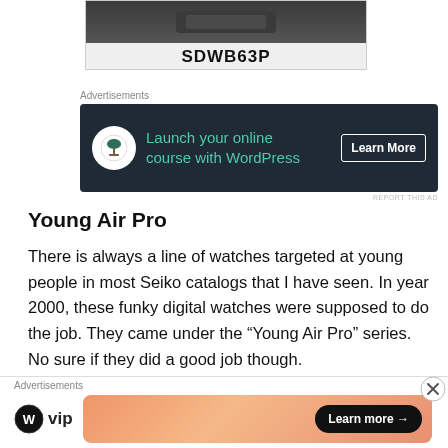[Figure (photo): Product watch image showing dark strap/body with label SDWB63P]
Advertisements
[Figure (screenshot): Advertisement banner: dark background with bonsai tree icon, text 'Launch your online course with WordPress', Learn More button]
Young Air Pro
There is always a line of watches targeted at young people in most Seiko catalogs that I have seen. In year 2000, these funky digital watches were supposed to do the job. They came under the “Young Air Pro” series. No sure if they did a good job though.
[Figure (photo): Partial images of two watches at the bottom of the page]
Advertisements
[Figure (screenshot): WordPress VIP advertisement with gradient orange/pink background and Learn more button]